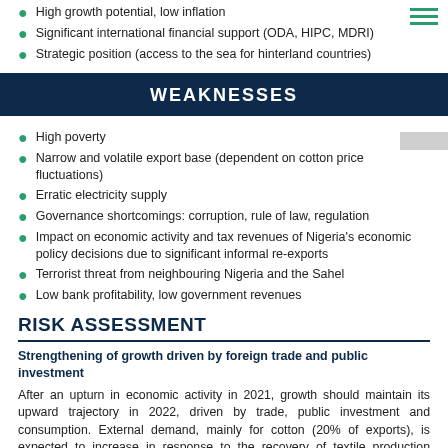High growth potential, low inflation
Significant international financial support (ODA, HIPC, MDRI)
Strategic position (access to the sea for hinterland countries)
WEAKNESSES
High poverty
Narrow and volatile export base (dependent on cotton price fluctuations)
Erratic electricity supply
Governance shortcomings: corruption, rule of law, regulation
Impact on economic activity and tax revenues of Nigeria's economic policy decisions due to significant informal re-exports
Terrorist threat from neighbouring Nigeria and the Sahel
Low bank profitability, low government revenues
RISK ASSESSMENT
Strengthening of growth driven by foreign trade and public investment
After an upturn in economic activity in 2021, growth should maintain its upward trajectory in 2022, driven by trade, public investment and consumption. External demand, mainly for cotton (20% of exports), is expected to increase in response to the recovery of textile production among Benin's trading partners, particularly in Asia (Bangladesh accounted for 69% of cotton exports in 2020), which should support